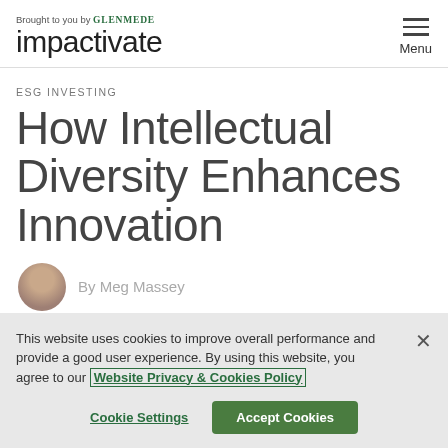Brought to you by GLENMEDE | impactivate | Menu
ESG INVESTING
How Intellectual Diversity Enhances Innovation
By Meg Massey
This website uses cookies to improve overall performance and provide a good user experience. By using this website, you agree to our Website Privacy & Cookies Policy
Cookie Settings | Accept Cookies